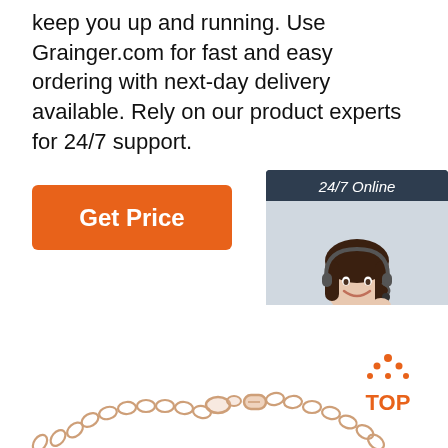keep you up and running. Use Grainger.com for fast and easy ordering with next-day delivery available. Rely on our product experts for 24/7 support.
[Figure (other): Orange 'Get Price' button]
[Figure (other): Chat widget with agent photo, '24/7 Online' header, 'Click here for free chat!' text, and orange QUOTATION button]
[Figure (photo): Rose gold jewelry chain with lobster clasp closeup photo]
[Figure (other): Orange 'TOP' badge with dots in triangle shape]